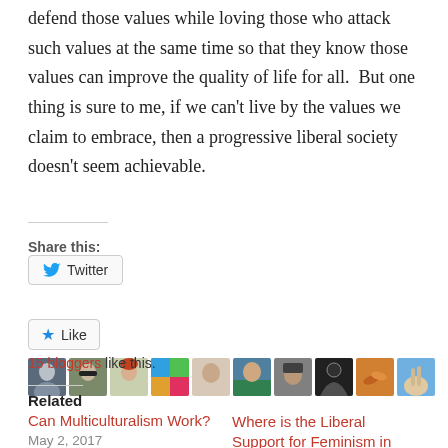defend those values while loving those who attack such values at the same time so that they know those values can improve the quality of life for all.  But one thing is sure to me, if we can’t live by the values we claim to embrace, then a progressive liberal society doesn’t seem achievable.
Share this:
[Figure (screenshot): Twitter share button with bird icon]
[Figure (screenshot): Like button with star icon and 10 avatar images of bloggers]
15 bloggers like this.
Related
Can Multiculturalism Work?
May 2, 2017
In "Commentary"
Where is the Liberal Support for Feminism in Islam?
December 6, 2019